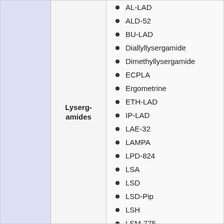Lyserg-amides
AL-LAD
ALD-52
BU-LAD
Diallyllysergamide
Dimethyllysergamide
ECPLA
Ergometrine
ETH-LAD
IP-LAD
LAE-32
LAMPA
LPD-824
LSA
LSD
LSD-Pip
LSH
LSM-775
LSZ